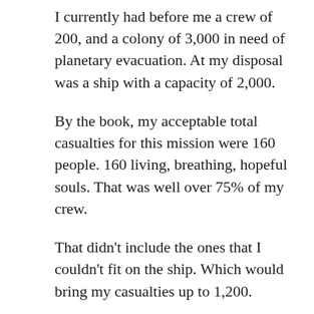I currently had before me a crew of 200, and a colony of 3,000 in need of planetary evacuation. At my disposal was a ship with a capacity of 2,000.
By the book, my acceptable total casualties for this mission were 160 people. 160 living, breathing, hopeful souls. That was well over 75% of my crew.
That didn't include the ones that I couldn't fit on the ship. Which would bring my casualties up to 1,200.
I handpicked this crew, many of them students I had tracked from their application to the academy and recruited as soon as they were approved for practical internships.
Some of their parents were my friends, some of